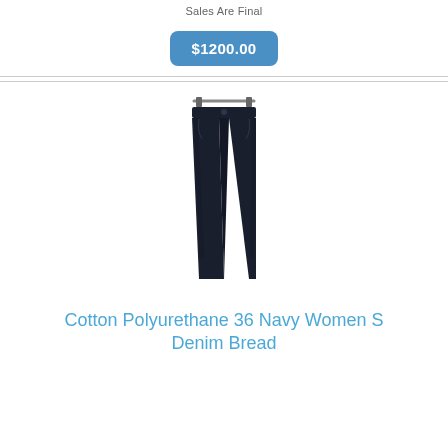Sales Are Final
$1200.00
[Figure (photo): Navy dark denim straight-leg women's jeans hanging on a hanger against a white background]
Cotton Polyurethane 36 Navy Women S Denim Bread